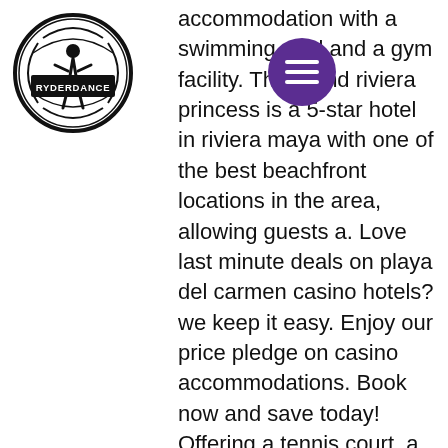[Figure (logo): RyderDance circular logo with black border and stylized figure design, text RYDERDANCE in the center]
[Figure (other): Purple circular menu/hamburger button with three white horizontal lines]
accommodation with a swimming pool and a gym facility. The grand riviera princess is a 5-star hotel in riviera maya with one of the best beachfront locations in the area, allowing guests a. Love last minute deals on playa del carmen casino hotels? we keep it easy. Enjoy our price pledge on casino accommodations. Book now and save today! Offering a tennis court, a casino and a solarium, iberostar paraiso del mar hotel playa del carmen is set close to galaxy. This resort is just 50 metres. The hotel bluebay grand esmeralda unravels alongside a sandy beach, 20 minutes' drive from playa del carmen. It's the pools that steal the. Grand riviera princess hotel playa del carmen features an outdoor swimming pool, a casino and a sauna, and lies 5 minutes' drive from grand coral golf. Find best hotels near riviera grand casino in playa del carmen with promotions and discounts on trip. Book